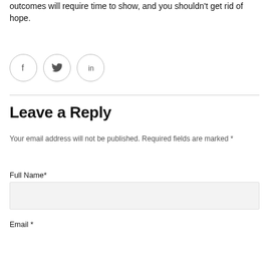outcomes will require time to show, and you shouldn't get rid of hope.
[Figure (other): Three social share icons in circles: Facebook (f), Twitter (bird), LinkedIn (in)]
Leave a Reply
Your email address will not be published. Required fields are marked *
Full Name*
Email *